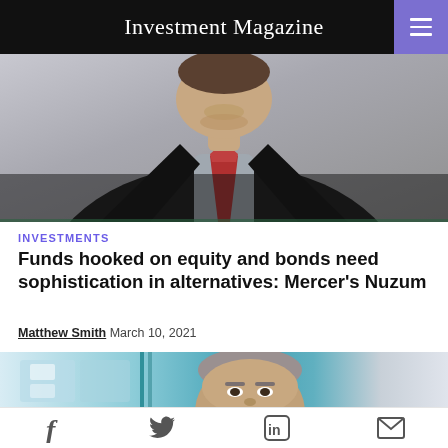Investment Magazine
[Figure (photo): Man in dark suit with red tie, photographed from chest up, speaking or being interviewed]
INVESTMENTS
Funds hooked on equity and bonds need sophistication in alternatives: Mercer's Nuzum
Matthew Smith  March 10, 2021
[Figure (photo): Close-up of a man with short grey hair in an office or studio setting with teal/blue background]
Social share icons: Facebook, Twitter, LinkedIn, Email